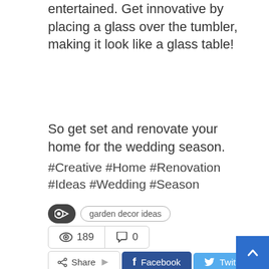entertained. Get innovative by placing a glass over the tumbler, making it look like a glass table!
So get set and renovate your home for the wedding season.
#Creative #Home #Renovation #Ideas #Wedding #Season
garden decor ideas
189  0
Share  Facebook  Twitter  +